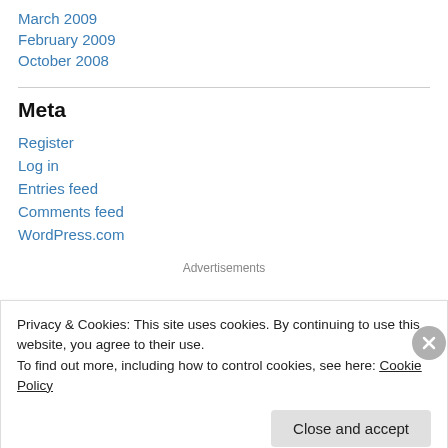March 2009
February 2009
October 2008
Meta
Register
Log in
Entries feed
Comments feed
WordPress.com
Advertisements
Privacy & Cookies: This site uses cookies. By continuing to use this website, you agree to their use.
To find out more, including how to control cookies, see here: Cookie Policy
Close and accept